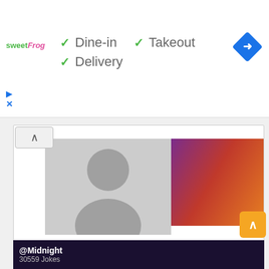[Figure (screenshot): Sweet Frog ad banner showing checkmarks for Dine-in, Takeout, and Delivery with logo and navigation icon]
✓ Dine-in  ✓ Takeout
✓ Delivery
[Figure (screenshot): Article card with silhouette profile image, colorful header image, article title, date, social share buttons, and engagement counters]
by Doug Lorman
the height of entertainment is when Manute Bol boxed William “The Refrigerator” Perry
© Jan 20th, 2019 via twitter
0   0   1   0
@Midnight
30559 Jokes